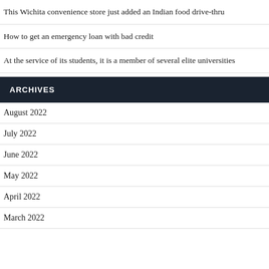This Wichita convenience store just added an Indian food drive-thru
How to get an emergency loan with bad credit
At the service of its students, it is a member of several elite universities
ARCHIVES
August 2022
July 2022
June 2022
May 2022
April 2022
March 2022